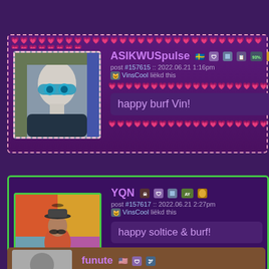[Figure (screenshot): Forum post by ASIKWUSpulse with avatar showing a bald mannequin face with teal goggles, post #157615, 2022.06.21 1:16pm, liked by VinsCool, message: happy burf Vin!, pink heart dashed border decoration]
[Figure (screenshot): Forum post by YQN with avatar showing a surreal image of a man in bowler hat in colorful scene, post #157617, 2022.06.21 2:27pm, liked by VinsCool, message: happy soltice & burf!, green border]
[Figure (screenshot): Partial forum post by funute visible at bottom, orange/brown background, partially cut off]